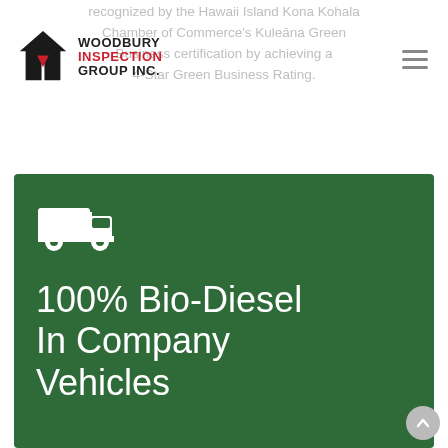recognized by the Hawaii Island Kona Kohala Chamber of Commerce's Kuleāna Green Business certification by achieving a 4-Star Green Business Rating.
[Figure (logo): Woodbury Inspection Group Inc. logo with black house/building icon and red/black text]
[Figure (infographic): Dark green card with white truck icon and white text reading '100% Bio-Diesel In Company Vehicles']